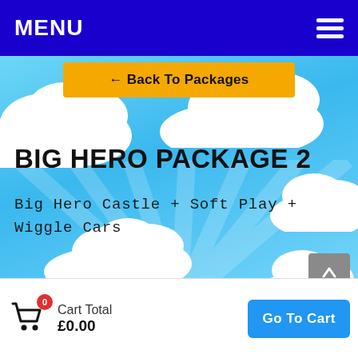MENU
← Back To Packages
BIG HERO PACKAGE 2
Big Hero Castle + Soft Play + Wiggle Cars
Cart Total £0.00
Go To Cart